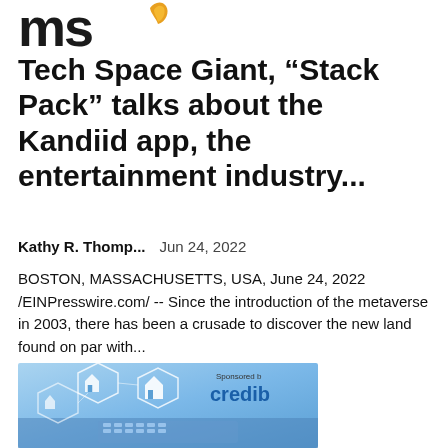[Figure (logo): Website logo showing 'ms' letters with orange leaf accent mark]
Tech Space Giant, “Stack Pack” talks about the Kandiid app, the entertainment industry...
Kathy R. Thomp...   Jun 24, 2022
BOSTON, MASSACHUSETTS, USA, June 24, 2022 /EINPresswire.com/ -- Since the introduction of the metaverse in 2003, there has been a crusade to discover the new land found on par with...
[Figure (photo): Sponsored advertisement image showing person at keyboard with house icons and hexagons overlay, labeled 'credible']